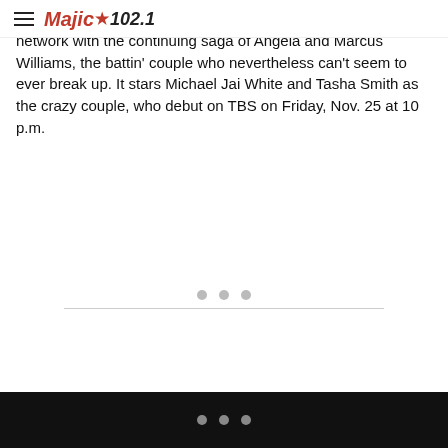Majic★102.1
network with the continuing saga of Angela and Marcus Williams, the battin' couple who nevertheless can't seem to ever break up. It stars Michael Jai White and Tasha Smith as the crazy couple, who debut on TBS on Friday, Nov. 25 at 10 p.m.
• • •